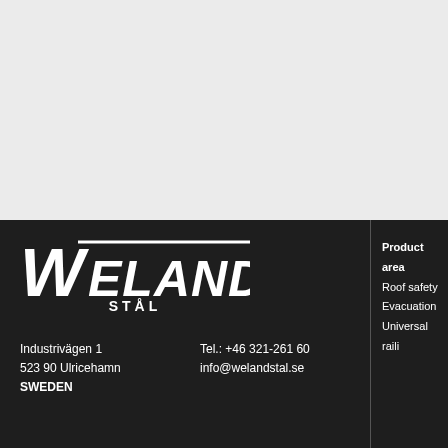[Figure (logo): Weland Stål company logo in white on dark background]
Industrivägen 1
523 90 Ulricehamn
SWEDEN
Tel.: +46 321-261 60
info@welandstal.se
Product area
Roof safety
Evacuation
Universal raili